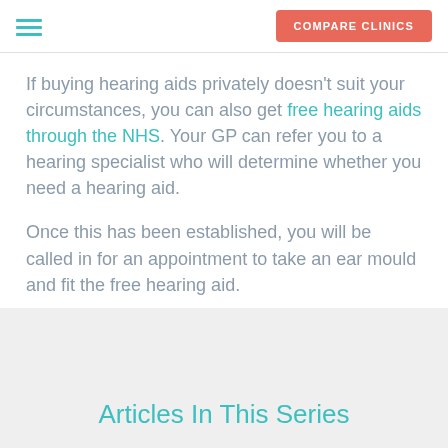COMPARE CLINICS
If buying hearing aids privately doesn't suit your circumstances, you can also get free hearing aids through the NHS. Your GP can refer you to a hearing specialist who will determine whether you need a hearing aid.
Once this has been established, you will be called in for an appointment to take an ear mould and fit the free hearing aid.
Articles In This Series